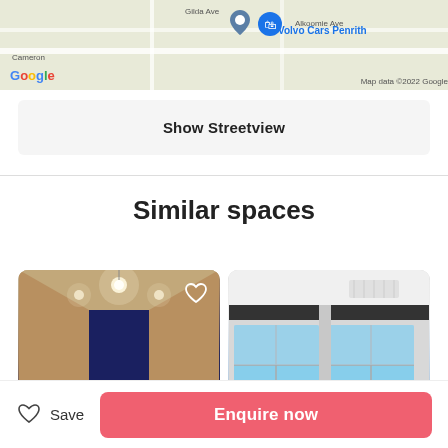[Figure (screenshot): Google Maps screenshot showing location of Volvo Cars Penrith with map pin marker. Roads visible include Gilda Ave and Alkoomie Ave. Google logo and Map data ©2022 Google shown.]
Show Streetview
Similar spaces
[Figure (photo): Interior photo of a room or corridor with ceiling lights and a blue wall at the end. Heart/save icon in top right corner.]
[Figure (photo): Interior photo of a bright space with large windows showing sky outside and white ceiling with air vent.]
Save
Enquire now